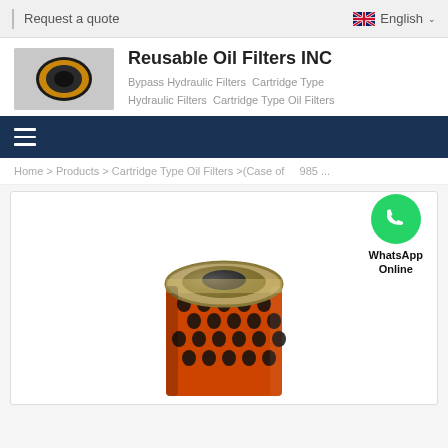Request a quote   English
Reusable Oil Filters INC
Bypass Hydraulic Filters  Cartridge Type Hydraulic Filters  Cartridge Type Oil Filters
Home > Products > Cartridge Type Oil Filters > (Case of 985 ...
[Figure (photo): Cartridge type oil filter element viewed from top, showing orange perforated cylindrical body with metallic end cap, viewed from slightly above. Center hole visible.]
WhatsApp Online